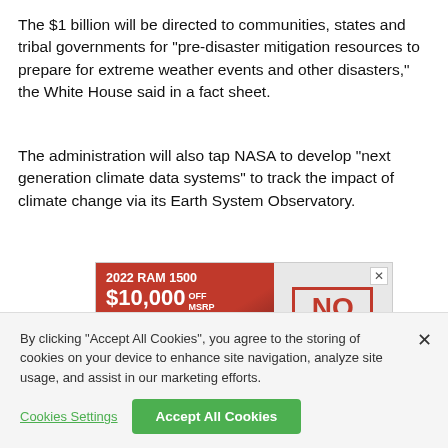The $1 billion will be directed to communities, states and tribal governments for “pre-disaster mitigation resources to prepare for extreme weather events and other disasters,” the White House said in a fact sheet.
The administration will also tap NASA to develop “next generation climate data systems” to track the impact of climate change via its Earth System Observatory.
[Figure (other): Advertisement for 2022 RAM 1500: $10,000 OFF MSRP, + 2.9% Financing Available for 72 Months. No Market Adjustment badge shown on right.]
By clicking “Accept All Cookies”, you agree to the storing of cookies on your device to enhance site navigation, analyze site usage, and assist in our marketing efforts.
Cookies Settings   Accept All Cookies